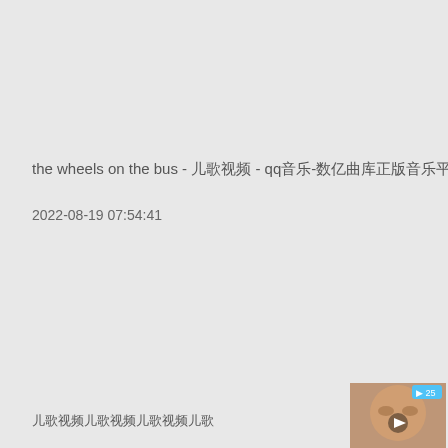the wheels on the bus - 儿歌视频 - qq音乐-数亿曲库正版音乐平台
2022-08-19 07:54:41
儿歌视频儿歌视频儿歌视频儿歌
[Figure (screenshot): Thumbnail of a video showing a person, with a small blue play button overlay]